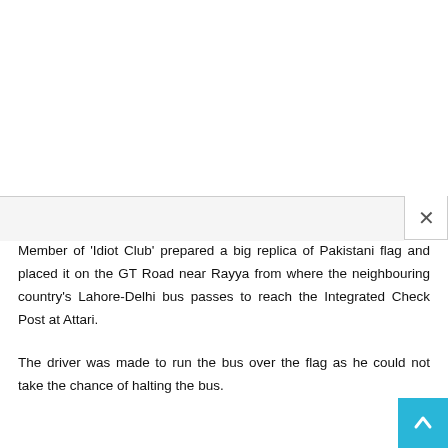[Figure (other): Top navigation/header bar area of a webpage with a horizontal divider line]
[Figure (other): Advertisement or image area (blank/white space) below the header, with a close (X) button at top right]
Member of ‘Idiot Club’ prepared a big replica of Pakistani flag and placed it on the GT Road near Rayya from where the neighbouring country’s Lahore-Delhi bus passes to reach the Integrated Check Post at Attari.
The driver was made to run the bus over the flag as he could not take the chance of halting the bus.
[Figure (other): Back to top button (blue square with upward arrow) in the bottom right corner]